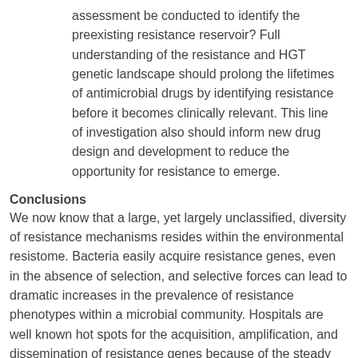assessment be conducted to identify the preexisting resistance reservoir? Full understanding of the resistance and HGT genetic landscape should prolong the lifetimes of antimicrobial drugs by identifying resistance before it becomes clinically relevant. This line of investigation also should inform new drug design and development to reduce the opportunity for resistance to emerge.
Conclusions
We now know that a large, yet largely unclassified, diversity of resistance mechanisms resides within the environmental resistome. Bacteria easily acquire resistance genes, even in the absence of selection, and selective forces can lead to dramatic increases in the prevalence of resistance phenotypes within a microbial community. Hospitals are well known hot spots for the acquisition, amplification, and dissemination of resistance genes because of the steady